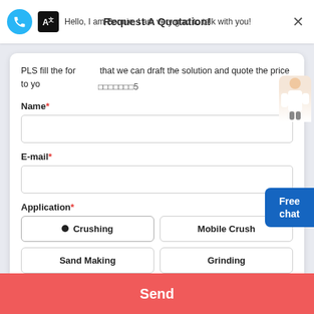Hello, I am Bonnie, I am very glad to talk with you!
Request A Quotation!
PLS fill the form so that we can draft the solution and quote the price to you.
Name*
E-mail*
Application*
Crushing
Mobile Crush
Sand Making
Grinding
Capacity*
>50 TPH
>30 TPH
Send